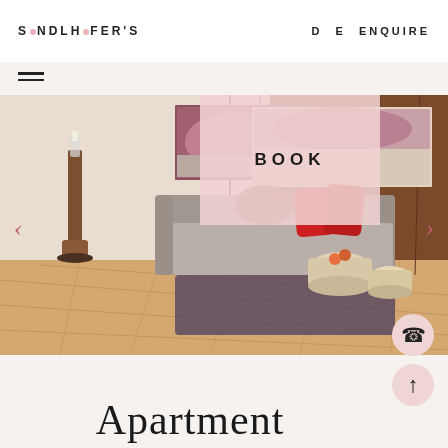SENDLHOFER'S D E   ENQUIRE
[Figure (photo): Interior photo of a cozy alpine apartment living room with a gray sectional sofa with red and brown pillows, wooden log coffee tables, a dark fluffy rug on light wood flooring, a tall rustic wooden candle holder, and two panoramic mountain/ski resort artworks on a wooden paneled wall. A pink overlay with the word BOOK appears in the upper center of the image. Left and right carousel navigation arrows are visible.]
Apartment